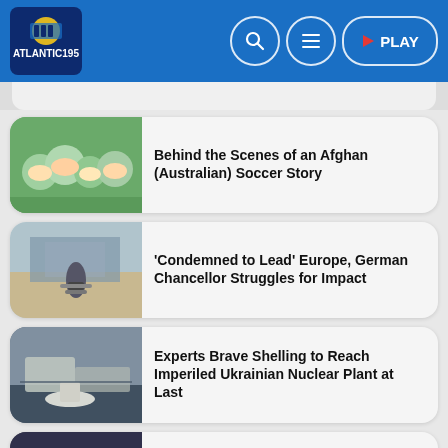ATLANTIC195 | PLAY
Behind the Scenes of an Afghan (Australian) Soccer Story
'Condemned to Lead' Europe, German Chancellor Struggles for Impact
Experts Brave Shelling to Reach Imperiled Ukrainian Nuclear Plant at Last
What's Behind the Pileup of Sex Abuse Scandals?